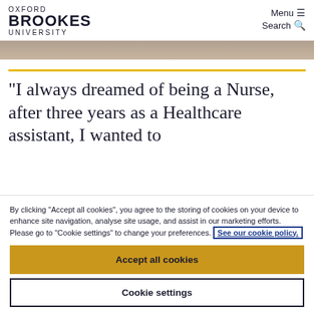OXFORD BROOKES UNIVERSITY | Menu ☰ | Search 🔍
[Figure (photo): Partial photo of a person in white clothing, cropped at top of page]
“I always dreamed of being a Nurse, after three years as a Healthcare assistant, I wanted to
By clicking "Accept all cookies", you agree to the storing of cookies on your device to enhance site navigation, analyse site usage, and assist in our marketing efforts. Please go to "Cookie settings" to change your preferences. See our cookie policy.
Accept all cookies
Cookie settings